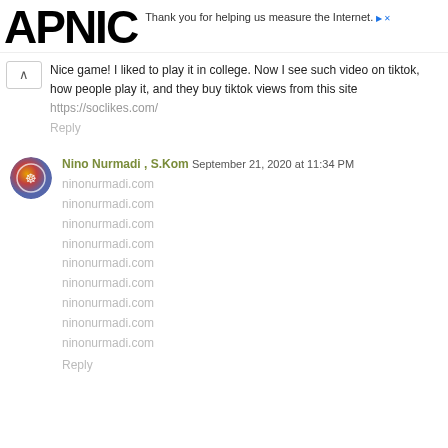APNIC — Thank you for helping us measure the Internet.
Nice game! I liked to play it in college. Now I see such video on tiktok, how people play it, and they buy tiktok views from this site
https://soclikes.com/
Reply
Nino Nurmadi , S.Kom  September 21, 2020 at 11:34 PM
ninonurmadi.com
ninonurmadi.com
ninonurmadi.com
ninonurmadi.com
ninonurmadi.com
ninonurmadi.com
ninonurmadi.com
ninonurmadi.com
ninonurmadi.com
Reply